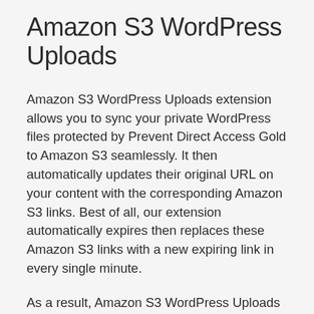Amazon S3 WordPress Uploads
Amazon S3 WordPress Uploads extension allows you to sync your private WordPress files protected by Prevent Direct Access Gold to Amazon S3 seamlessly. It then automatically updates their original URL on your content with the corresponding Amazon S3 links. Best of all, our extension automatically expires then replaces these Amazon S3 links with a new expiring link in every single minute.
As a result, Amazon S3 WordPress Uploads extension not only speeds up your private files load time but also prevents others from